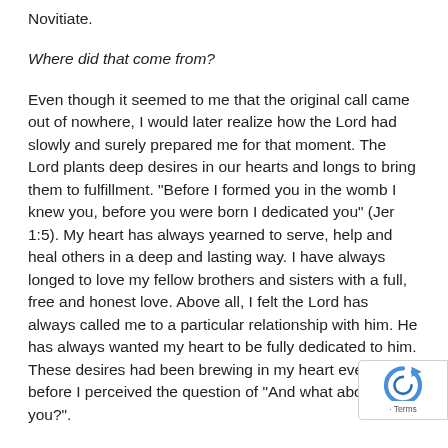Novitiate.
Where did that come from?
Even though it seemed to me that the original call came out of nowhere, I would later realize how the Lord had slowly and surely prepared me for that moment. The Lord plants deep desires in our hearts and longs to bring them to fulfillment. "Before I formed you in the womb I knew you, before you were born I dedicated you" (Jer 1:5). My heart has always yearned to serve, help and heal others in a deep and lasting way. I have always longed to love my fellow brothers and sisters with a full, free and honest love. Above all, I felt the Lord has always called me to a particular relationship with him. He has always wanted my heart to be fully dedicated to him. These desires had been brewing in my heart even before I perceived the question of "And what about you?".
Besides these desires, the Lord had also placed people, events and opportunities in my path that readied my heart to hear and